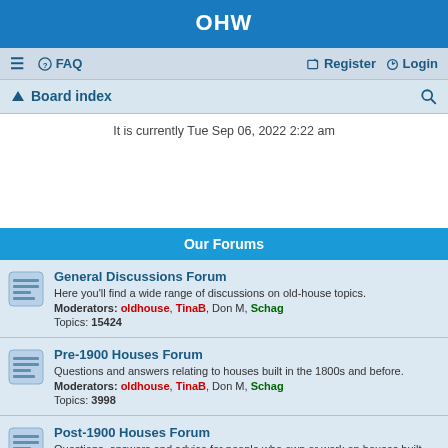OHW
≡  FAQ    Register  Login
🏠 Board index    🔍
It is currently Tue Sep 06, 2022 2:22 am
Our Forums
General Discussions Forum
Here you'll find a wide range of discussions on old-house topics.
Moderators: oldhouse, TinaB, Don M, Schag
Topics: 15424
Pre-1900 Houses Forum
Questions and answers relating to houses built in the 1800s and before.
Moderators: oldhouse, TinaB, Don M, Schag
Topics: 3998
Post-1900 Houses Forum
Questions, answers and advice for people who own or work on houses built during the 20th century.
Moderators: oldhouse, TinaB, Don M, Schag
Topics: 5434